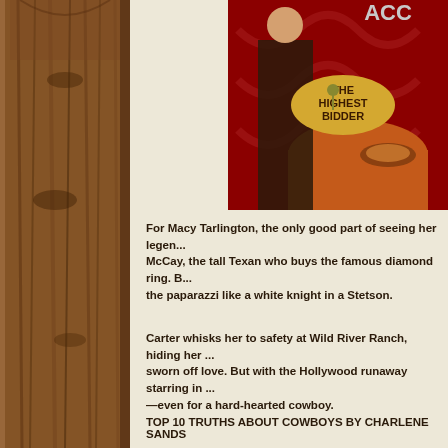[Figure (photo): Wooden fence post on the left side of the page, rustic brown wood grain texture running full height]
[Figure (photo): Book cover for 'To the Highest Bidder' showing a man in a suit and a woman at a table with red background, partial text 'ACC' visible at top]
For Macy Tarlington, the only good part of seeing her legend... McCay, the tall Texan who buys the famous diamond ring. B... the paparazzi like a white knight in a Stetson.
Carter whisks her to safety at Wild River Ranch, hiding her ... sworn off love. But with the Hollywood runaway starring in... —even for a hard-hearted cowboy.
TOP 10 TRUTHS ABOUT COWBOYS BY CHARLENE SANDS